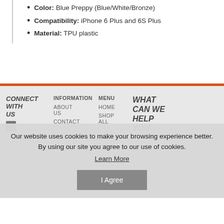Color: Blue Preppy (Blue/White/Bronze)
Compatibility: iPhone 6 Plus and 6S Plus
Material: TPU plastic
CONNECT WITH US | INFORMATION | MENU | WHAT CAN WE HELP YOU
Our website uses cookies to make your browsing experience better. By using our site you agree to our use of cookies. Learn More
I Agree